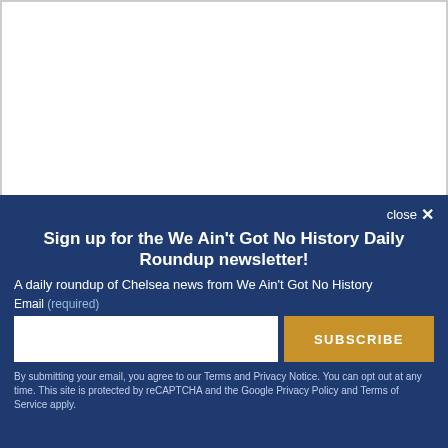[Figure (other): White content area at top of page]
close ×
Sign up for the We Ain't Got No History Daily Roundup newsletter!
A daily roundup of Chelsea news from We Ain't Got No History
Email (required)
SUBSCRIBE
By submitting your email, you agree to our Terms and Privacy Notice. You can opt out at any time. This site is protected by reCAPTCHA and the Google Privacy Policy and Terms of Service apply.